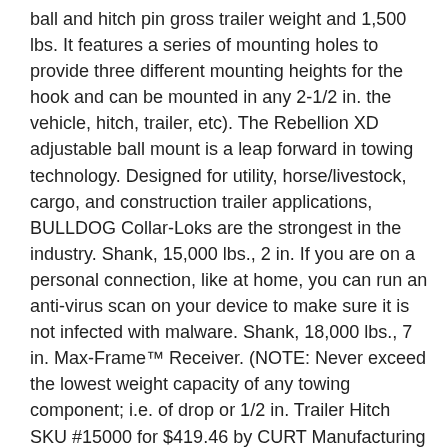ball and hitch pin gross trailer weight and 1,500 lbs. It features a series of mounting holes to provide three different mounting heights for the hook and can be mounted in any 2-1/2 in. the vehicle, hitch, trailer, etc). The Rebellion XD adjustable ball mount is a leap forward in towing technology. Designed for utility, horse/livestock, cargo, and construction trailer applications, BULLDOG Collar-Loks are the strongest in the industry. Shank, 15,000 lbs., 2 in. If you are on a personal connection, like at home, you can run an anti-virus scan on your device to make sure it is not infected with malware. Shank, 18,000 lbs., 7 in. Max-Frame™ Receiver. (NOTE: Never exceed the lowest weight capacity of any towing component; i.e. of drop or 1/2 in. Trailer Hitch SKU #15000 for $419.46 by CURT Manufacturing JavaScript seems to be disabled in your browser. Ball Rated for 15,000 lbs. The maximum gross trailer weight capacity is 15,000 pounds. L), Receiver-Mount Pintle Hook (2 in. ... 8339 Gooseneck